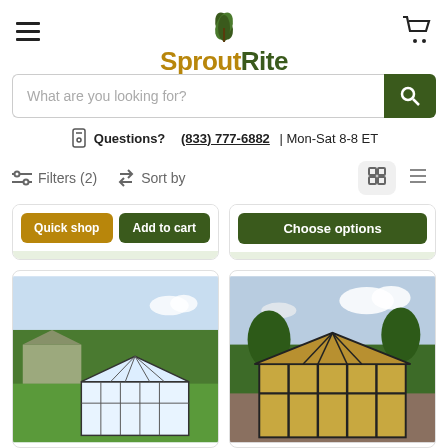[Figure (logo): SproutRite logo with green leaf icon and two-tone wordmark]
[Figure (screenshot): Search bar with placeholder 'What are you looking for?' and green search button]
Questions? (833) 777-6882 | Mon-Sat 8-8 ET
Filters (2)   Sort by   [grid view] [list view]
[Figure (screenshot): Product card bottom section showing Quick shop and Add to cart buttons]
[Figure (screenshot): Product card showing Choose options button]
[Figure (photo): Greenhouse product photo - white greenhouse in garden setting]
[Figure (photo): Greenhouse product photo - dark frame greenhouse in garden setting]